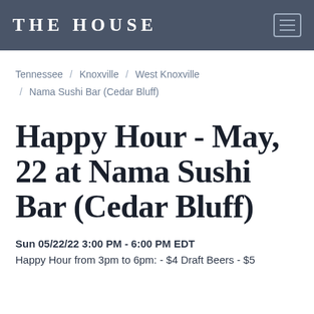THE HOUSE
Tennessee / Knoxville / West Knoxville / Nama Sushi Bar (Cedar Bluff)
Happy Hour - May, 22 at Nama Sushi Bar (Cedar Bluff)
Sun 05/22/22 3:00 PM - 6:00 PM EDT
Happy Hour from 3pm to 6pm: - $4 Draft Beers - $5